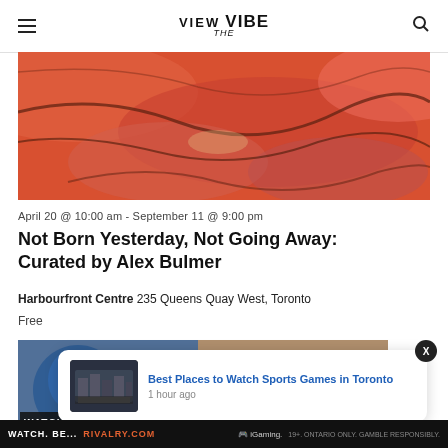VIEW the VIBE
[Figure (photo): Abstract reddish-orange wavy marbled texture artwork image]
April 20 @ 10:00 am - September 11 @ 9:00 pm
Not Born Yesterday, Not Going Away: Curated by Alex Bulmer
Harbourfront Centre 235 Queens Quay West, Toronto
Free
[Figure (photo): Second article thumbnail image partially visible, with notification popup overlay showing Best Places to Watch Sports Games in Toronto article]
Best Places to Watch Sports Games in Toronto
1 hour ago